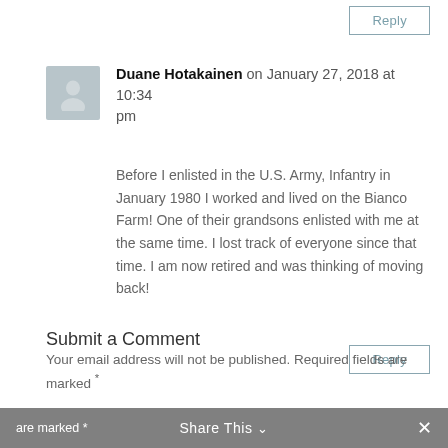Reply
Duane Hotakainen on January 27, 2018 at 10:34 pm
Before I enlisted in the U.S. Army, Infantry in January 1980 I worked and lived on the Bianco Farm! One of their grandsons enlisted with me at the same time. I lost track of everyone since that time. I am now retired and was thinking of moving back!
Reply
Submit a Comment
Your email address will not be published. Required fields are marked *
Share This ∨ ×